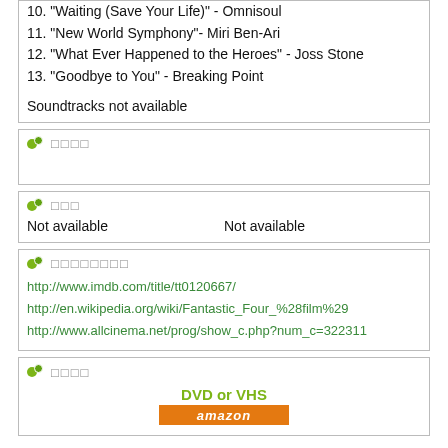10. "Waiting (Save Your Life)" - Omnisoul
11. "New World Symphony"- Miri Ben-Ari
12. "What Ever Happened to the Heroes" - Joss Stone
13. "Goodbye to You" - Breaking Point
Soundtracks not available
□□□□
□□□
Not available    Not available
□□□□□□□□
http://www.imdb.com/title/tt0120667/
http://en.wikipedia.org/wiki/Fantastic_Four_%28film%29
http://www.allcinema.net/prog/show_c.php?num_c=322311
□□□□
DVD or VHS
[Figure (logo): Amazon logo bar in orange]